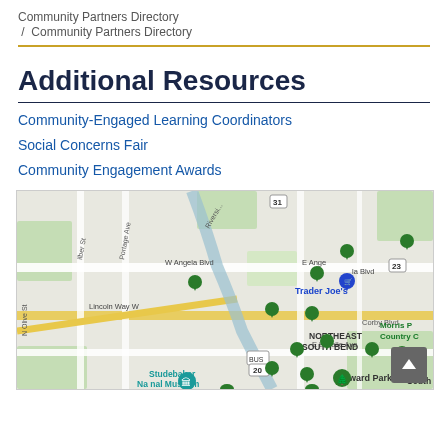Community Partners Directory / Community Partners Directory
Additional Resources
Community-Engaged Learning Coordinators
Social Concerns Fair
Community Engagement Awards
[Figure (map): Google Map showing South Bend, Indiana area with multiple green location pins marking community partner locations. Notable landmarks labeled include Trader Joe's, Northeast South Bend, Howard Park, Morris P Country C, Studebaker National Museum, South Bend. Street labels include W Angela Blvd, E Angela Blvd, Lincoln Way W, E Lasalle Ave, Corby Blvd, N Olive St, Portage Ave. Route markers include 31, 23, BUS 20.]